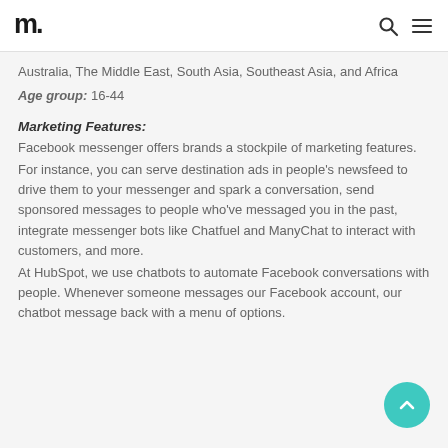Hootsuite logo, search icon, menu icon
Australia, The Middle East, South Asia, Southeast Asia, and Africa
Age group: 16-44
Marketing Features:
Facebook messenger offers brands a stockpile of marketing features.
For instance, you can serve destination ads in people's newsfeed to drive them to your messenger and spark a conversation, send sponsored messages to people who've messaged you in the past, integrate messenger bots like Chatfuel and ManyChat to interact with customers, and more.
At HubSpot, we use chatbots to automate Facebook conversations with people. Whenever someone messages our Facebook account, our chatbot message back with a menu of options.